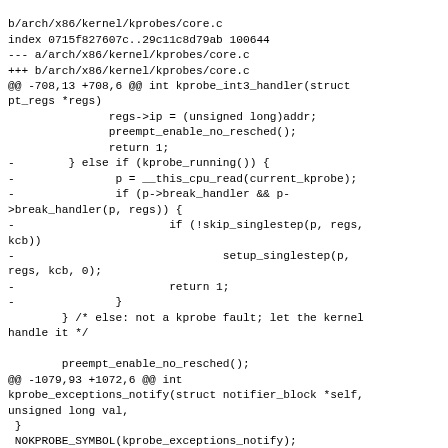b/arch/x86/kernel/kprobes/core.c
index 0715f827607c..29c11c8d79ab 100644
--- a/arch/x86/kernel/kprobes/core.c
+++ b/arch/x86/kernel/kprobes/core.c
@@ -708,13 +708,6 @@ int kprobe_int3_handler(struct pt_regs *regs)
                regs->ip = (unsigned long)addr;
                preempt_enable_no_resched();
                return 1;
-        } else if (kprobe_running()) {
-                p = __this_cpu_read(current_kprobe);
-                if (p->break_handler && p->break_handler(p, regs)) {
-                        if (!skip_singlestep(p, regs, kcb))
-                                setup_singlestep(p, regs, kcb, 0);
-                        return 1;
-                }
        } /* else: not a kprobe fault; let the kernel handle it */

        preempt_enable_no_resched();
@@ -1079,93 +1072,6 @@ int kprobe_exceptions_notify(struct notifier_block *self, unsigned long val,
 }
 NOKPROBE_SYMBOL(kprobe_exceptions_notify);

-int setjmp_pre_handler(struct kprobe *p, struct pt_regs *regs)